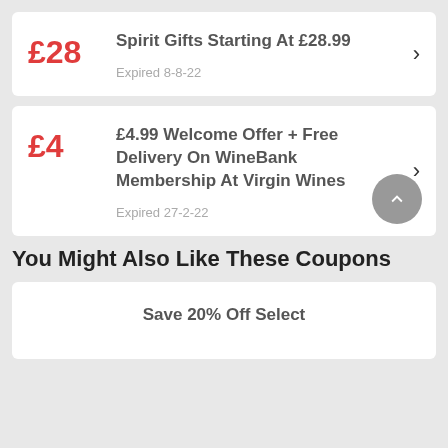£28 — Spirit Gifts Starting At £28.99 — Expired 8-8-22
£4 — £4.99 Welcome Offer + Free Delivery On WineBank Membership At Virgin Wines — Expired 27-2-22
You Might Also Like These Coupons
Save 20% Off Select